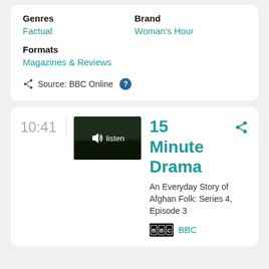Genres
Factual
Brand
Woman's Hour
Formats
Magazines & Reviews
Source: BBC Online
10:41
[Figure (screenshot): Thumbnail image of a dark landscape with a listen button overlay showing a speaker icon and the word 'listen']
15 Minute Drama
An Everyday Story of Afghan Folk: Series 4, Episode 3
[Figure (logo): BBC logo - white BBC text on black background]
BBC